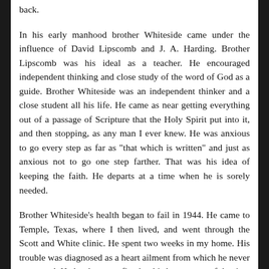back.
In his early manhood brother Whiteside came under the influence of David Lipscomb and J. A. Harding. Brother Lipscomb was his ideal as a teacher. He encouraged independent thinking and close study of the word of God as a guide. Brother Whiteside was an independent thinker and a close student all his life. He came as near getting everything out of a passage of Scripture that the Holy Spirit put into it, and then stopping, as any man I ever knew. He was anxious to go every step as far as "that which is written" and just as anxious not to go one step farther. That was his idea of keeping the faith. He departs at a time when he is sorely needed.
Brother Whiteside's health began to fail in 1944. He came to Temple, Texas, where I then lived, and went through the Scott and White clinic. He spent two weeks in my home. His trouble was diagnosed as a heart ailment from which he never recovered. He has been confined to his home most of the time since then, much of it on his bed. I have visited him on occasions during the time of his...